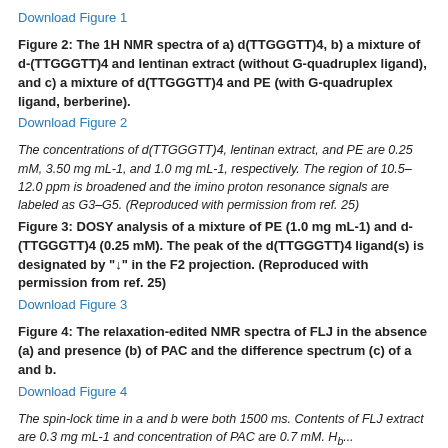Download Figure 1
Figure 2: The 1H NMR spectra of a) d(TTGGGTT)4, b) a mixture of d-(TTGGGTT)4 and lentinan extract (without G-quadruplex ligand), and c) a mixture of d(TTGGGTT)4 and PE (with G-quadruplex ligand, berberine).
Download Figure 2
The concentrations of d(TTGGGTT)4, lentinan extract, and PE are 0.25 mM, 3.50 mg mL-1, and 1.0 mg mL-1, respectively. The region of 10.5–12.0 ppm is broadened and the imino proton resonance signals are labeled as G3–G5. (Reproduced with permission from ref. 25)
Figure 3: DOSY analysis of a mixture of PE (1.0 mg mL-1) and d-(TTGGGTT)4 (0.25 mM). The peak of the d(TTGGGTT)4 ligand(s) is designated by "↓" in the F2 projection. (Reproduced with permission from ref. 25)
Download Figure 3
Figure 4: The relaxation-edited NMR spectra of FLJ in the absence (a) and presence (b) of PAC and the difference spectrum (c) of a and b.
Download Figure 4
The spin-lock time in a and b were both 1500 ms. Contents of FLJ extract are 0.3 mg mL-1 and concentration of PAC are 0.7 mM. Hb...